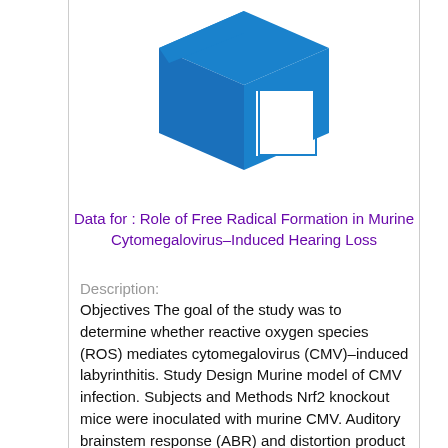[Figure (logo): Blue 3D box/cube logo icon representing a data repository]
Data for : Role of Free Radical Formation in Murine Cytomegalovirus–Induced Hearing Loss
Description:
Objectives The goal of the study was to determine whether reactive oxygen species (ROS) mediates cytomegalovirus (CMV)–induced labyrinthitis. Study Design Murine model of CMV infection. Subjects and Methods Nrf2 knockout mice were inoculated with murine CMV. Auditory brainstem response (ABR) and distortion product otoacoustic emissions (DPOAEs) were then performed on these and uninfected controls. BALB/c mice